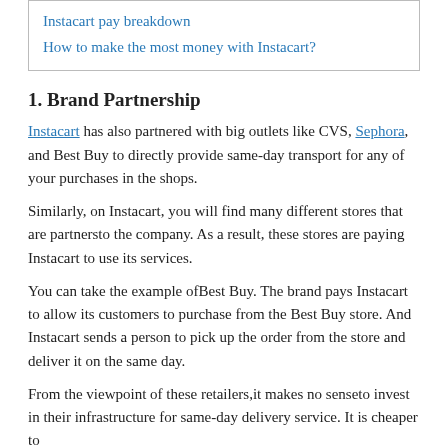Instacart pay breakdown
How to make the most money with Instacart?
1. Brand Partnership
Instacart has also partnered with big outlets like CVS, Sephora, and Best Buy to directly provide same-day transport for any of your purchases in the shops.
Similarly, on Instacart, you will find many different stores that are partnersto the company. As a result, these stores are paying Instacart to use its services.
You can take the example ofBest Buy. The brand pays Instacart to allow its customers to purchase from the Best Buy store. And Instacart sends a person to pick up the order from the store and deliver it on the same day.
From the viewpoint of these retailers,it makes no senseto invest in their infrastructure for same-day delivery service. It is cheaper to...